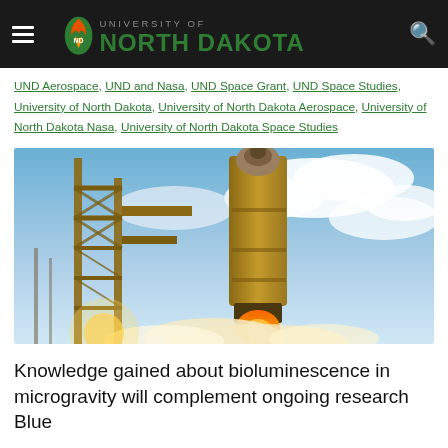University of North Dakota
UND Aerospace, UND and Nasa, UND Space Grant, UND Space Studies, University of North Dakota, University of North Dakota Aerospace, University of North Dakota Nasa, University of North Dakota Space Studies
[Figure (photo): A rocket launching from a launch tower with fire and smoke, blue sky with clouds in background]
Knowledge gained about bioluminescence in microgravity will complement ongoing research Blue